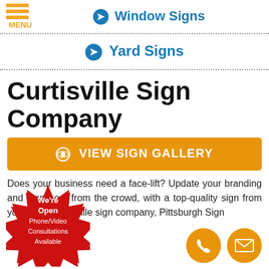Window Signs
Yard Signs
Curtisville Sign Company
[Figure (infographic): Orange button with eye icon: VIEW SIGN GALLERY]
Does your business need a face-lift? Update your branding and stand out from the crowd, with a top-quality sign from your local Curtisville sign company, Pittsburgh Sign
[Figure (infographic): Red starburst badge: We're Open Phone/Video Consultations Available]
[Figure (infographic): Two orange circle icons: phone and email contact]